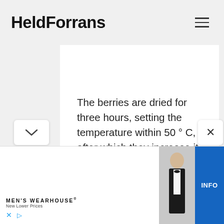HeldForrans
The berries are dried for three hours, setting the temperature within 50 ° C, after which they increase it by another 10 degrees. The fruits darken during the drying process, they will not change color if, before being sent to the electric grill, they are dipped into a solution prepared from 5 g of citric acid or juice and a liter of water. Dry apricots after the liquid drains.
[Figure (photo): Advertisement banner for Men's Wearhouse showing a couple dressed in formal attire (man in suit, woman in gown) alongside an image of a man in a tuxedo, with MEN'S WEARHOUSE logo and New Lower Prices tagline, plus an INFO button]